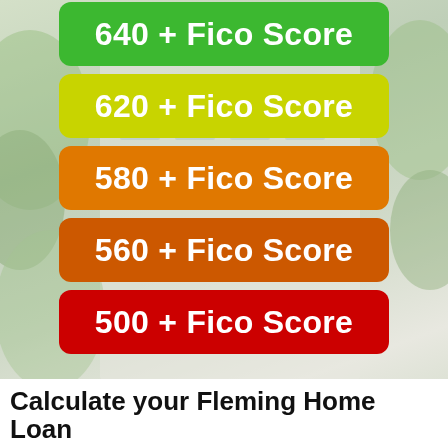[Figure (infographic): Background photo of a blurred modern building/house exterior with foliage]
640 + Fico Score
620 + Fico Score
580 + Fico Score
560 + Fico Score
500 + Fico Score
Calculate your Fleming Home Loan